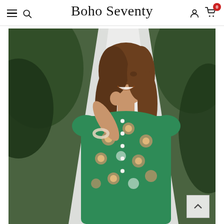Boho Seventy — navigation bar with hamburger menu, search icon, brand name, user icon, cart (0)
[Figure (photo): A smiling young woman with long brown hair wearing a green floral button-front dress with short puff sleeves, standing near a white fabric canopy/tent with tropical foliage in the background. She is touching her hair and wearing a pearl bracelet. A back-to-top arrow button is overlaid in the bottom-right corner of the photo.]